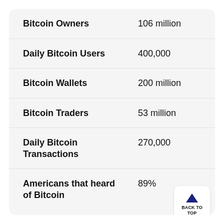| Metric | Value |
| --- | --- |
| Bitcoin Owners | 106 million |
| Daily Bitcoin Users | 400,000 |
| Bitcoin Wallets | 200 million |
| Bitcoin Traders | 53 million |
| Daily Bitcoin Transactions | 270,000 |
| Americans that heard of Bitcoin | 89% |